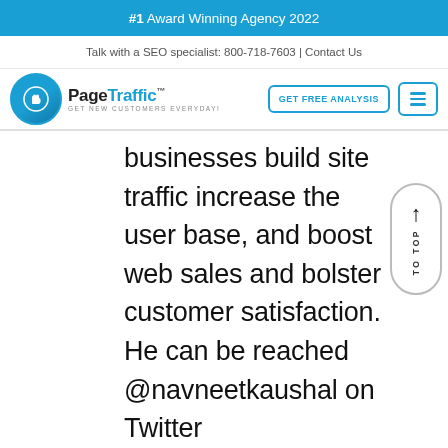#1 Award Winning Agency 2022
Talk with a SEO specialist: 800-718-7603 | Contact Us
[Figure (logo): PageTraffic logo with hand cursor icon in blue circle and tagline GET NEW CUSTOMERS EVERYDAY!]
GET FREE ANALYSIS
businesses build site traffic increase the user base, and boost web sales and bolster customer satisfaction. He can be reached @navneetkaushal on Twitter